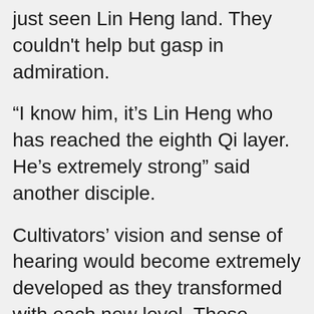just seen Lin Heng land. They couldn't help but gasp in admiration.
“I know him, it’s Lin Heng who has reached the eighth Qi layer. He’s extremely strong” said another disciple.
Cultivators’ vision and sense of hearing would become extremely developed as they transformed with each new level. Those disciples could see Lin Heng even though they were a hundred meters above the gorge looking in.
They had finally arrived at the Life or Death arena. There was no grass or trees, only a sand covered